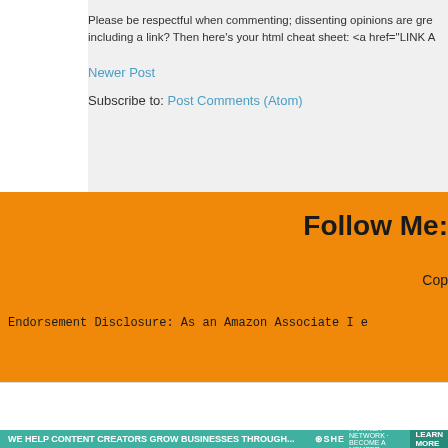Please be respectful when commenting; dissenting opinions are gre including a link? Then here's your html cheat sheet: <a href="LINK A
Newer Post
Subscribe to: Post Comments (Atom)
Follow Me:
Cop
Endorsement Disclosure: As an Amazon Associate I e
[Figure (logo): SHE Media Collective - Home + DIY logo with play button]
Learn More | Privacy
[Figure (infographic): SHE Partner Network banner - We help content creators grow businesses through...]